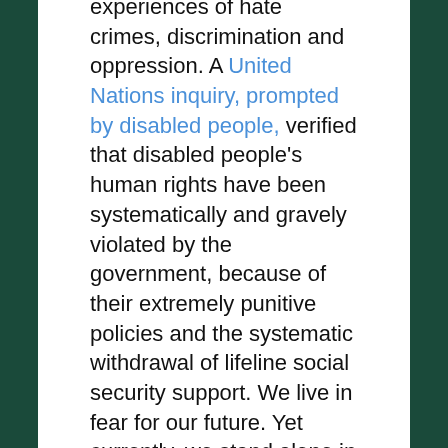experiences of hate crimes, discrimination and oppression. A United Nations inquiry, prompted by disabled people, verified that disabled people's human rights have been systematically and gravely violated by the government, because of their extremely punitive policies and the systematic withdrawal of lifeline social security support. We live in fear for our future. Yet currently, we stand alone in our fight for justice, dignity and freedom. Yet the only way we can fight oppression is by standing together in solidarity to face it.
The rise of antisemitism is a global phenomenon, and is